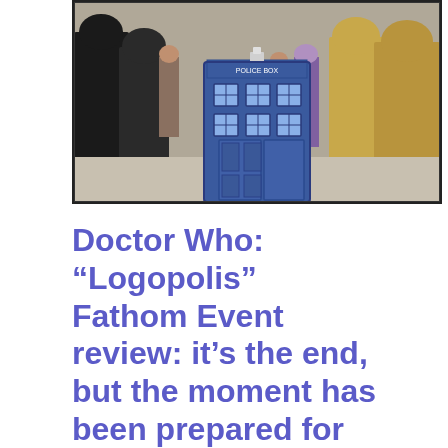[Figure (photo): A scene from Doctor Who showing the blue TARDIS police box surrounded by robed figures, with other characters visible in the background.]
Doctor Who: “Logopolis” Fathom Event review: it’s the end, but the moment has been prepared for
Wed, Mar 06, 2019 | no comments yet
An iconic story from the classic era of the British cult TV favorite comes to US big screens for one night only… and the cleaned up FX as well as its deceptively